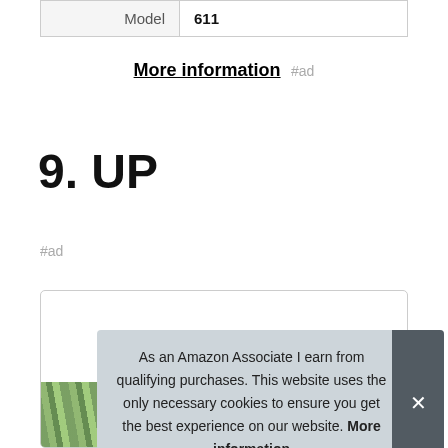| Model | 611 |
More information #ad
9. UP
#ad
[Figure (photo): Product card with leafy green plant image at the bottom]
As an Amazon Associate I earn from qualifying purchases. This website uses the only necessary cookies to ensure you get the best experience on our website. More information